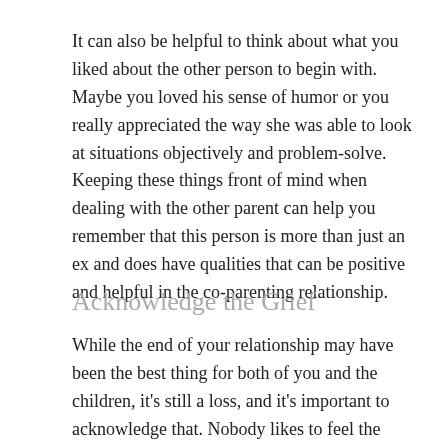It can also be helpful to think about what you liked about the other person to begin with. Maybe you loved his sense of humor or you really appreciated the way she was able to look at situations objectively and problem-solve. Keeping these things front of mind when dealing with the other parent can help you remember that this person is more than just an ex and does have qualities that can be positive and helpful in the co-parenting relationship.
Acknowledge the Grief
While the end of your relationship may have been the best thing for both of you and the children, it's still a loss, and it's important to acknowledge that. Nobody likes to feel the sadness, hurt and uncertainty that comes with the end of a relationship, but trying to gloss over it and